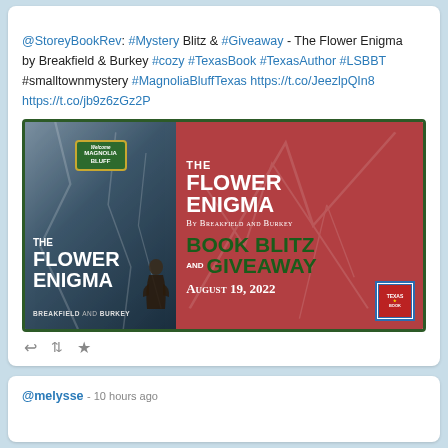@StoreyBookRev: #Mystery Blitz & #Giveaway - The Flower Enigma by Breakfield & Burkey #cozy #TexasBook #TexasAuthor #LSBBT #smalltownmystery #MagnoliaBluffTexas https://t.co/JeezlpQIn8 https://t.co/jb9z6zGz2P
[Figure (illustration): Book banner for The Flower Enigma by Breakfield and Burkey. Left side shows the book cover with dark blue/grey background, a Welcome to Magnolia Bluff sign, the book title in white bold text, and author names. Right side has a pink/red background with the title 'The Flower Enigma', 'By Breakfield and Burkey', 'Book Blitz and Giveaway', 'August 19, 2022', and a Texas Book Festival logo.]
@melysse - 10 hours ago